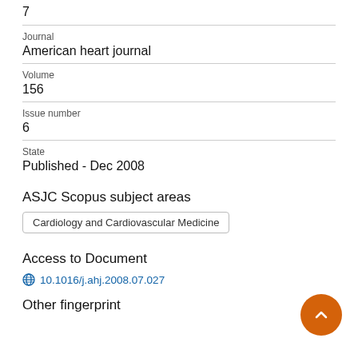7
Journal
American heart journal
Volume
156
Issue number
6
State
Published - Dec 2008
ASJC Scopus subject areas
Cardiology and Cardiovascular Medicine
Access to Document
10.1016/j.ahj.2008.07.027
Other fingerprint